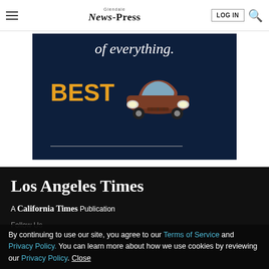Glendale News-Press | LOG IN | Search
[Figure (photo): Advertisement banner on dark navy background showing partial text 'of everything.' in italic white, large yellow bold text 'BEST' with an illustration of a red/brown car from the front, and a white underline beneath 'BEST ___']
Los Angeles Times
A California Times Publication
Follow Us
By continuing to use our site, you agree to our Terms of Service and Privacy Policy. You can learn more about how we use cookies by reviewing our Privacy Policy. Close